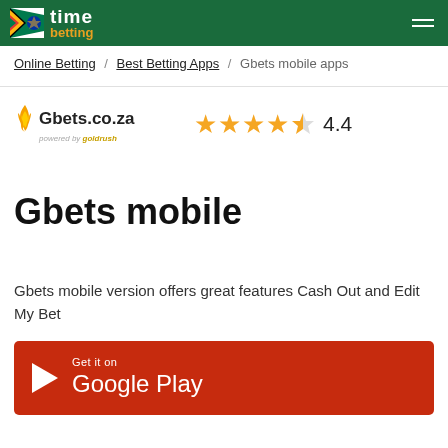time betting
Online Betting / Best Betting Apps / Gbets mobile apps
[Figure (logo): Gbets.co.za logo with flame icon, powered by goldrush text below]
★★★★½ 4.4
Gbets mobile
Gbets mobile version offers great features Cash Out and Edit My Bet
[Figure (other): Get it on Google Play red button]
Table of contents [ show ]